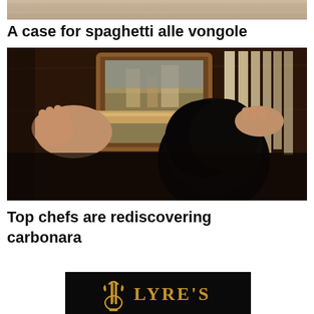[Figure (photo): Top portion of a food photo, partially cropped, showing a light-colored surface]
A case for spaghetti alle vongole
[Figure (photo): Person rolling or cutting pasta with a wooden rolling pin and pasta cutter frame against a dark wooden background]
Top chefs are rediscovering carbonara
[Figure (logo): Lyre's logo on black background with golden text and harp/lyre icon]